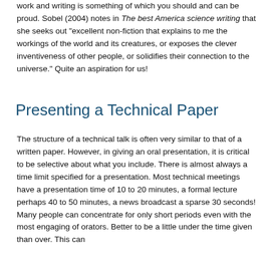work and writing is something of which you should and can be proud. Sobel (2004) notes in The best America science writing that she seeks out "excellent non-fiction that explains to me the workings of the world and its creatures, or exposes the clever inventiveness of other people, or solidifies their connection to the universe." Quite an aspiration for us!
Presenting a Technical Paper
The structure of a technical talk is often very similar to that of a written paper. However, in giving an oral presentation, it is critical to be selective about what you include. There is almost always a time limit specified for a presentation. Most technical meetings have a presentation time of 10 to 20 minutes, a formal lecture perhaps 40 to 50 minutes, a news broadcast a sparse 30 seconds! Many people can concentrate for only short periods even with the most engaging of orators. Better to be a little under the time given than over. This can